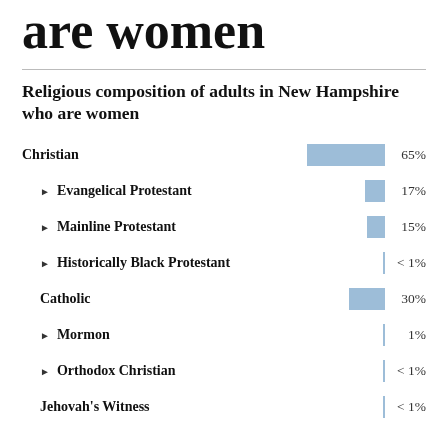are women
Religious composition of adults in New Hampshire who are women
[Figure (bar-chart): Religious composition of adults in New Hampshire who are women]